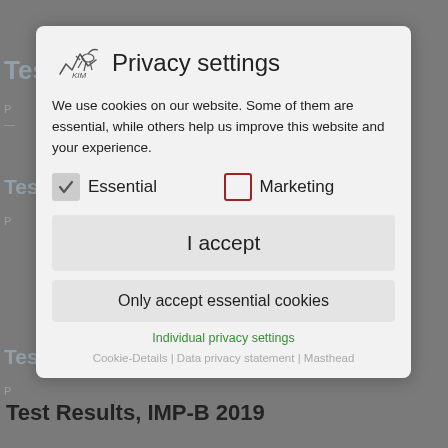[Figure (screenshot): Privacy settings modal dialog overlay on a website. Modal contains a logo, title 'Privacy settings', cookie consent text, Essential (checked) and Marketing (unchecked) checkboxes, 'I accept' button, 'Only accept essential cookies' button, 'Individual privacy settings' link, and footer links for Cookie-Details, Data privacy statement, and Masthead. Behind the modal is dimmed page content showing 'Test Results, IMP-A 2019' and similar text.]
We use cookies on our website. Some of them are essential, while others help us improve this website and your experience.
Essential
Marketing
I accept
Only accept essential cookies
Individual privacy settings
Cookie-Details | Data privacy statement | Masthead
Test Results, IMP-B 2019